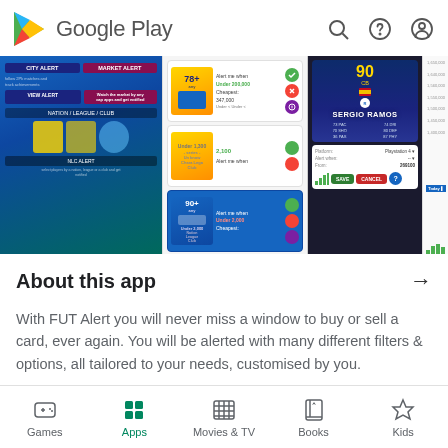Google Play
[Figure (screenshot): Google Play Store app page screenshots showing FUT Alert app: screenshot 1 showing city alert and market alert with NLC alert, screenshot 2 showing price alert cards with under 1300, under 200000, under 2000 options, screenshot 3 showing Sergio Ramos player card with rating 90 on PlayStation 4 with price 269100 and save/cancel buttons, screenshot 4 partially visible chart]
About this app
With FUT Alert you will never miss a window to buy or sell a card, ever again. You will be alerted with many different filters & options, all tailored to your needs, customised by you.
Our current alert functionalities are:
Games  Apps  Movies & TV  Books  Kids